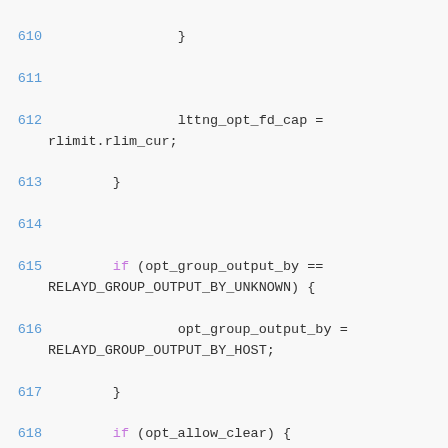Source code listing, lines 610-626, C programming language